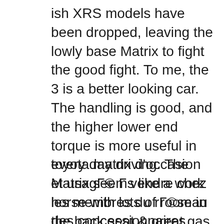ish XRS models have been dropped, leaving the lowly base Matrix to fight the good fight. To me, the 3 is a better looking car. The handling is good, and the higher lower end torque is more useful in every day driving. The Matrix seems like a work horse with lots of room in the back seat & great gas mileage. The fact that it's a Toyota and it rides on the Corolla platform is pretty compelling in terms of long term reliability etc
toyota matrix d'occasion et usagГ© Г vendre chez les membres du rГ©seau des concessionnaires automobile du QuГ©bec : Occasion en Or I recently purchased a 2006 matrix and was told